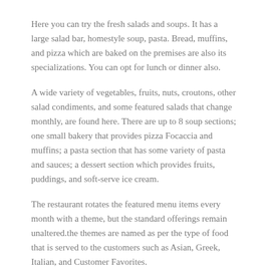Here you can try the fresh salads and soups. It has a large salad bar, homestyle soup, pasta. Bread, muffins, and pizza which are baked on the premises are also its specializations. You can opt for lunch or dinner also.
A wide variety of vegetables, fruits, nuts, croutons, other salad condiments, and some featured salads that change monthly, are found here. There are up to 8 soup sections; one small bakery that provides pizza Focaccia and muffins; a pasta section that has some variety of pasta and sauces; a dessert section which provides fruits, puddings, and soft-serve ice cream.
The restaurant rotates the featured menu items every month with a theme, but the standard offerings remain unaltered.the themes are named as per the type of food that is served to the customers such as Asian, Greek, Italian, and Customer Favorites.
Here are some ways which you can follow while ordering food at the Souplantation restaurant in order to enjoy good savings: